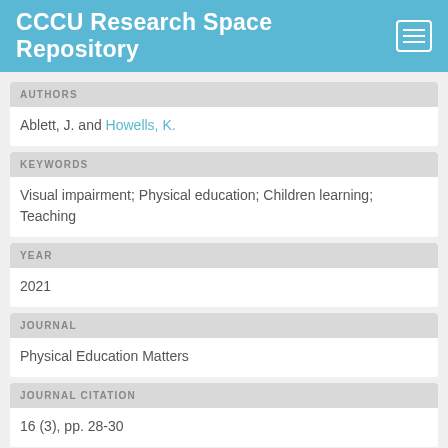CCCU Research Space Repository
AUTHORS
Ablett, J. and Howells, K.
KEYWORDS
Visual impairment; Physical education; Children learning; Teaching
YEAR
2021
JOURNAL
Physical Education Matters
JOURNAL CITATION
16 (3), pp. 28-30
PUBLISHER